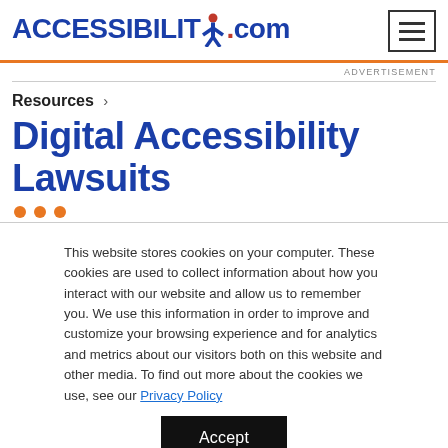ACCESSIBILITY.com
ADVERTISEMENT
Resources >
Digital Accessibility Lawsuits
This website stores cookies on your computer. These cookies are used to collect information about how you interact with our website and allow us to remember you. We use this information in order to improve and customize your browsing experience and for analytics and metrics about our visitors both on this website and other media. To find out more about the cookies we use, see our Privacy Policy
Accept